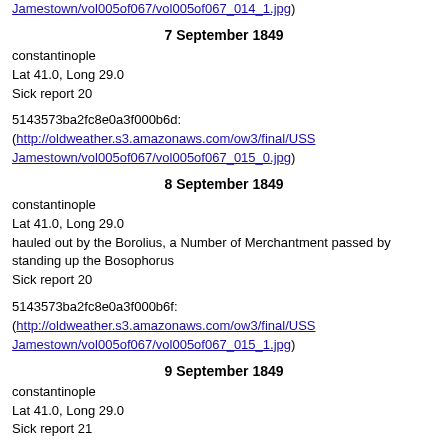Jamestown/vol005of067/vol005of067_014_1.jpg)
7 September 1849
constantinople
Lat 41.0, Long 29.0
Sick report 20
5143573ba2fc8e0a3f000b6d:
(http://oldweather.s3.amazonaws.com/ow3/final/USSJamestown/vol005of067/vol005of067_015_0.jpg)
8 September 1849
constantinople
Lat 41.0, Long 29.0
hauled out by the Borolius, a Number of Merchantment passed by standing up the Bosophorus
Sick report 20
5143573ba2fc8e0a3f000b6f:
(http://oldweather.s3.amazonaws.com/ow3/final/USSJamestown/vol005of067/vol005of067_015_1.jpg)
9 September 1849
constantinople
Lat 41.0, Long 29.0
Sick report 21
5143573ba2fc8e0a3f000b71:
(http://oldweather.s3.amazonaws.com/ow3/final/USS